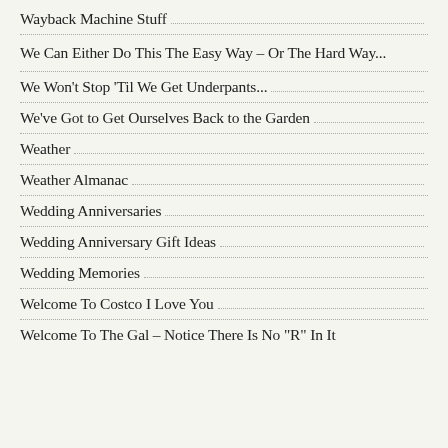Wayback Machine Stuff
We Can Either Do This The Easy Way – Or The Hard Way...
We Won't Stop 'Til We Get Underpants...
We've Got to Get Ourselves Back to the Garden
Weather
Weather Almanac
Wedding Anniversaries
Wedding Anniversary Gift Ideas
Wedding Memories
Welcome To Costco I Love You
Welcome To The Gal – Notice There Is No "R" In It